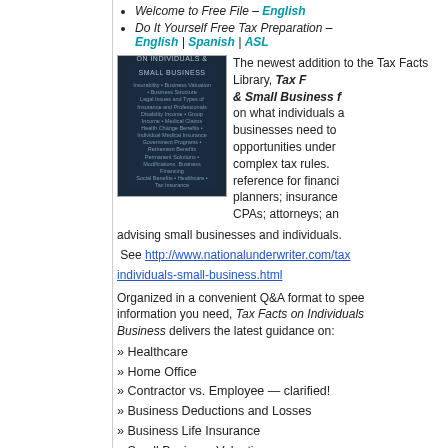Welcome to Free File – English
Do It Yourself Free Tax Preparation – English | Spanish | ASL
[Figure (illustration): Book cover: Tax Facts on Individuals & Small Business, dark blue cover]
The newest addition to the Tax Facts Library, Tax Facts on Individuals & Small Business focuses on what individuals and businesses need to know about opportunities under today's complex tax rules. It is an essential reference for financial advisors and planners; insurance professionals; CPAs; attorneys; and anyone advising small businesses and individuals.
See http://www.nationalunderwriter.com/tax-facts-on-individuals-small-business.html
Organized in a convenient Q&A format to speed you to the information you need, Tax Facts on Individuals & Small Business delivers the latest guidance on:
» Healthcare
» Home Office
» Contractor vs. Employee — clarified!
» Business Deductions and Losses
» Business Life Insurance
» Small Business Valuation
» Small Business Entity Choices